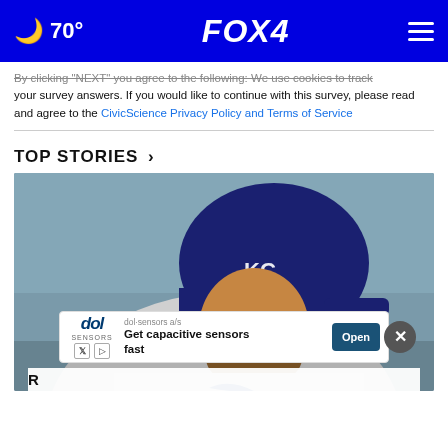🌙 70° FOX 4 ☰
By clicking "NEXT" you agree to the following: We use cookies to track your survey answers. If you would like to continue with this survey, please read and agree to the CivicScience Privacy Policy and Terms of Service
TOP STORIES ›
[Figure (photo): Kansas City Royals baseball player smiling in batting helmet with KC logo, wearing gray Royals uniform]
dol·sensors a/s
Get capacitive sensors fast
Open